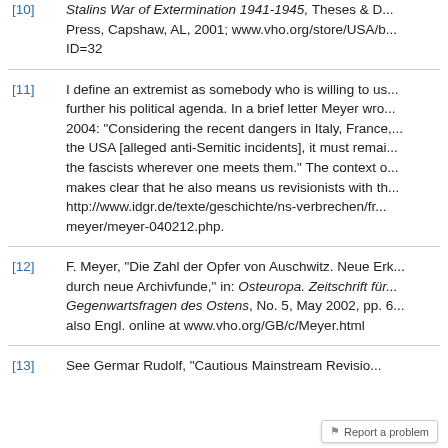[10] Stalins War of Extermination 1941-1945, Theses & D... Press, Capshaw, AL, 2001; www.vho.org/store/USA/b... ID=32
[11] I define an extremist as somebody who is willing to us... further his political agenda. In a brief letter Meyer wro... 2004: "Considering the recent dangers in Italy, France,... the USA [alleged anti-Semitic incidents], it must remai... the fascists wherever one meets them." The context o... makes clear that he also means us revisionists with th... http://www.idgr.de/texte/geschichte/ns-verbrechen/fr... meyer/meyer-040212.php.
[12] F. Meyer, "Die Zahl der Opfer von Auschwitz. Neue Erk... durch neue Archivfunde," in: Osteuropa. Zeitschrift für... Gegenwartsfragen des Ostens, No. 5, May 2002, pp. 6... also Engl. online at www.vho.org/GB/c/Meyer.html
[13] See Germar Rudolf, "Cautious Mainstream Revisio...